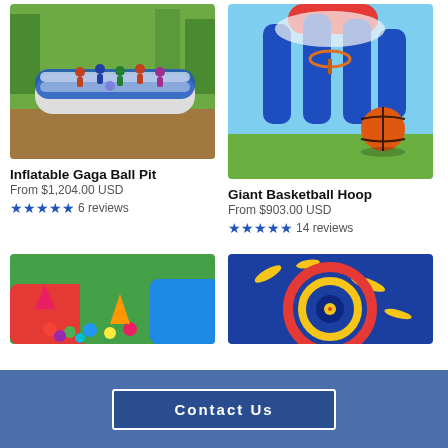[Figure (photo): Photo of an inflatable gaga ball pit with children playing inside, blue and white inflatable walls, outdoor park setting]
[Figure (photo): Photo of a giant inflatable basketball hoop structure with blue padded columns and a basketball on grass]
Inflatable Gaga Ball Pit
From $1,204.00 USD
★★★★★ 6 reviews
Giant Basketball Hoop
From $903.00 USD
★★★★★ 14 reviews
[Figure (photo): Colorful inflatable ball pit with multicolored balls and inflatable obstacles]
[Figure (photo): Blue and red inflatable target game with circular target rings]
Contact Us